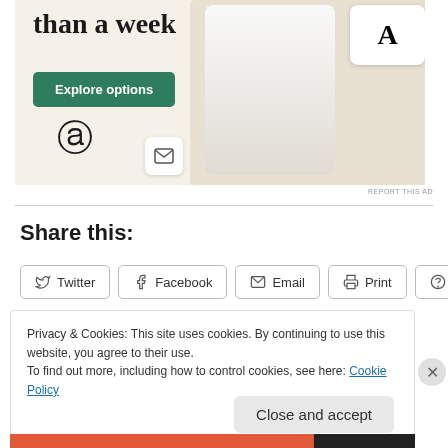[Figure (screenshot): Advertisement banner with text 'than a week', a green 'Explore options' button, WordPress logo, envelope icon, and app mockup screenshots showing food content]
REPORT THIS AD
Share this:
Twitter  Facebook  Email  Print  Reddit
Privacy & Cookies: This site uses cookies. By continuing to use this website, you agree to their use.
To find out more, including how to control cookies, see here: Cookie Policy
Close and accept